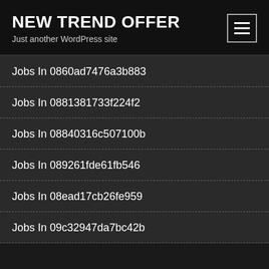NEW TREND OFFER
Just another WordPress site
Jobs In 0860ad7476a3b883
Jobs In 0881381733f224f2
Jobs In 08840316c507100b
Jobs In 089261fde61fb546
Jobs In 08ead17cb26fe959
Jobs In 09c32947da7bc42b